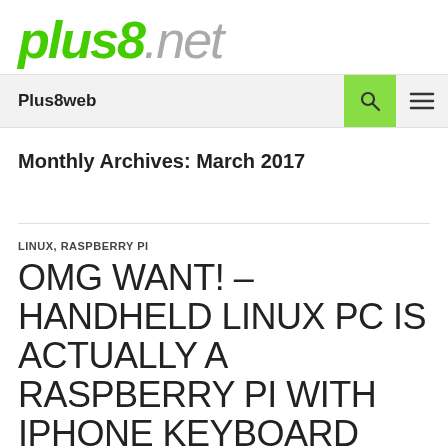plus8.net
Plus8web
Monthly Archives: March 2017
LINUX, RASPBERRY PI
OMG WANT! – HANDHELD LINUX PC IS ACTUALLY A RASPBERRY PI WITH IPHONE KEYBOARD
MARCH 24, 2017  LEAVE A COMMENT